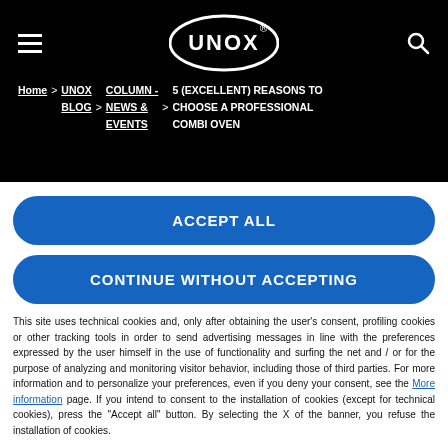UNOX logo, hamburger menu, search icon
Home > UNOX BLOG > COLUMN - NEWS & EVENTS > 5 (EXCELLENT) REASONS TO CHOOSE A PROFESSIONAL COMBI OVEN
ACCEPT ALL
CONTINUE WITHOUT ACCEPTING
This site uses technical cookies and, only after obtaining the user's consent, profiling cookies or other tracking tools in order to send advertising messages in line with the preferences expressed by the user himself in the use of functionality and surfing the net and / or for the purpose of analyzing and monitoring visitor behavior, including those of third parties. For more information and to personalize your preferences, even if you deny your consent, see the More information page. If you intend to consent to the installation of cookies (except for technical cookies), press the "Accept all" button. By selecting the X of the banner, you refuse the installation of cookies.